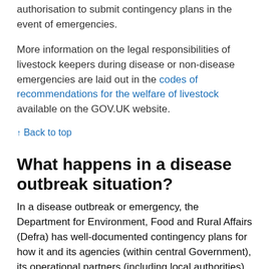authorisation to submit contingency plans in the event of emergencies.
More information on the legal responsibilities of livestock keepers during disease or non-disease emergencies are laid out in the codes of recommendations for the welfare of livestock available on the GOV.UK website.
↑ Back to top
What happens in a disease outbreak situation?
In a disease outbreak or emergency, the Department for Environment, Food and Rural Affairs (Defra) has well-documented contingency plans for how it and its agencies (within central Government), its operational partners (including local authorities)